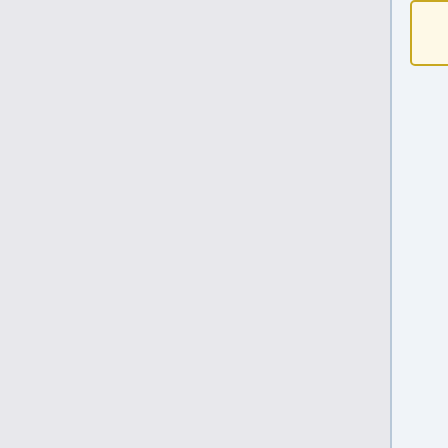</span>
* identify the individual detectors' instantaneous optical response function (presently we use elliptical Gaussian fits of Planck beams from observations of planets; eventually, an arbitrary mathematical representation of the beam can be used on input)